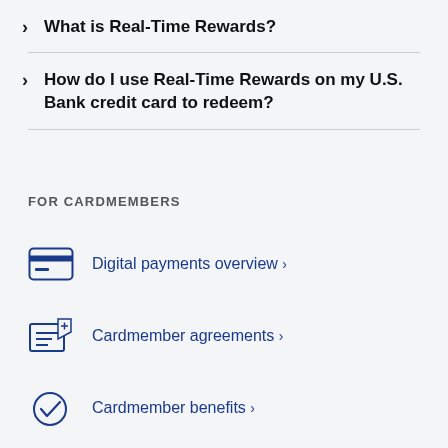What is Real-Time Rewards?
How do I use Real-Time Rewards on my U.S. Bank credit card to redeem?
FOR CARDMEMBERS
Digital payments overview
Cardmember agreements
Cardmember benefits